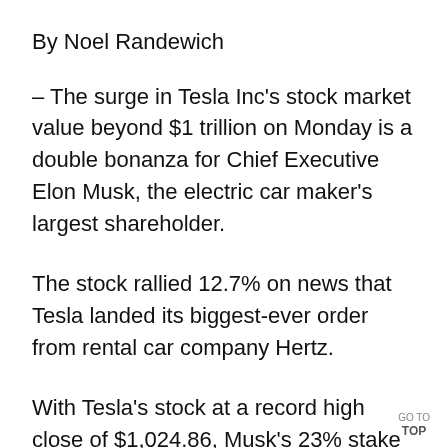By Noel Randewich
– The surge in Tesla Inc's stock market value beyond $1 trillion on Monday is a double bonanza for Chief Executive Elon Musk, the electric car maker's largest shareholder.
The stock rallied 12.7% on news that Tesla landed its biggest-ever order from rental car company Hertz.
With Tesla's stock at a record high close of $1,024.86, Musk's 23% stake in the newly minted trillion-dollar company is now h